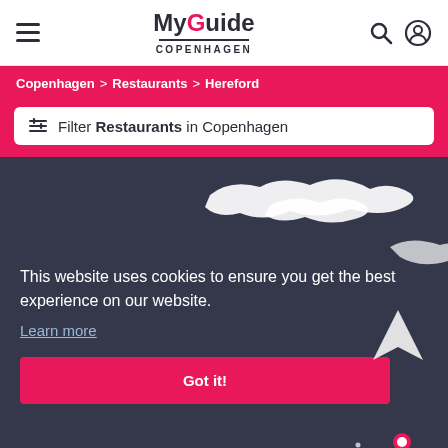MyGuide Copenhagen
Copenhagen > Restaurants > Hereford
Filter Restaurants in Copenhagen
This website uses cookies to ensure you get the best experience on our website. Learn more
Got it!